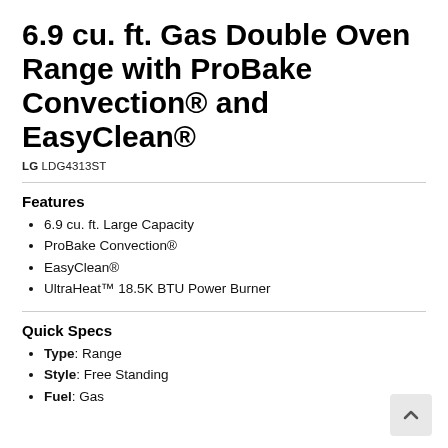6.9 cu. ft. Gas Double Oven Range with ProBake Convection® and EasyClean®
LG LDG4313ST
Features
6.9 cu. ft. Large Capacity
ProBake Convection®
EasyClean®
UltraHeat™ 18.5K BTU Power Burner
Quick Specs
Type: Range
Style: Free Standing
Fuel: Gas